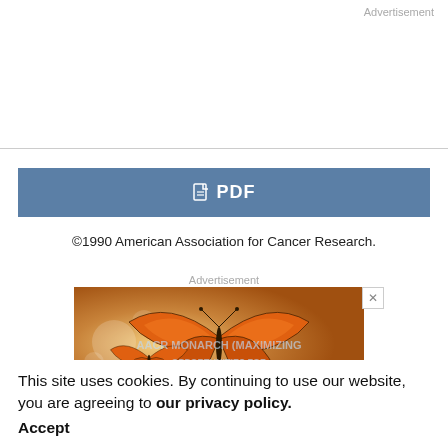Advertisement
[Figure (other): PDF download button with blue background and white PDF icon and label]
©1990 American Association for Cancer Research.
Advertisement
[Figure (photo): Advertisement image showing monarch butterflies with bokeh background and overlaid text: AACR MONARCH (MAXIMIZING OPPORTUNITIES FOR RESEARCH IN CANCER) GRANT FOR LATIN AMERICA]
This site uses cookies. By continuing to use our website, you are agreeing to our privacy policy. Accept